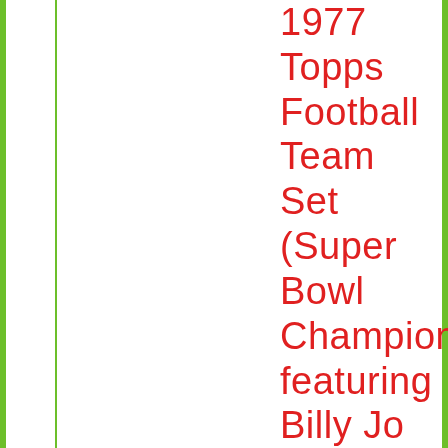1977 Topps Football Team Set (Super Bowl Champions), featuring Billy Jo DuPree, John Fitzgerald, Cliff Harris, Et...